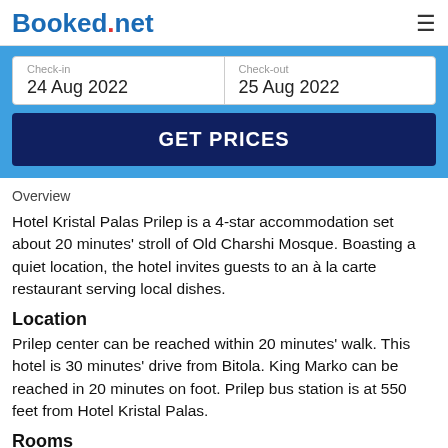Booked.net
Check-in
24 Aug 2022
Check-out
25 Aug 2022
GET PRICES
Overview
Hotel Kristal Palas Prilep is a 4-star accommodation set about 20 minutes' stroll of Old Charshi Mosque. Boasting a quiet location, the hotel invites guests to an à la carte restaurant serving local dishes.
Location
Prilep center can be reached within 20 minutes' walk. This hotel is 30 minutes' drive from Bitola. King Marko can be reached in 20 minutes on foot. Prilep bus station is at 550 feet from Hotel Kristal Palas.
Rooms